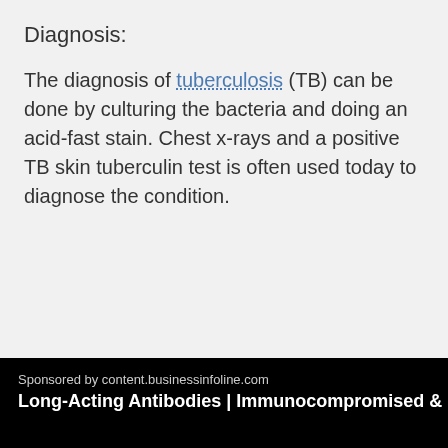Diagnosis:
The diagnosis of tuberculosis (TB) can be done by culturing the bacteria and doing an acid-fast stain. Chest x-rays and a positive TB skin tuberculin test is often used today to diagnose the condition.
Sponsored by content.businessinfoline.com
Long-Acting Antibodies | Immunocompromised & COVID